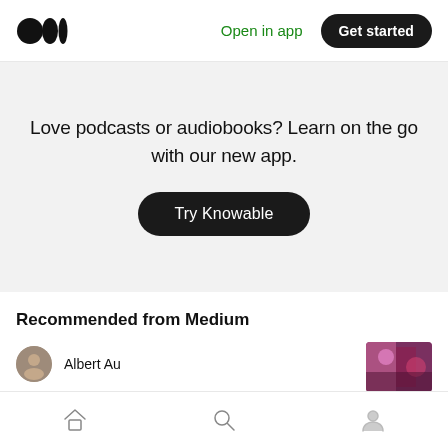[Figure (logo): Medium logo — two overlapping circles (dark)]
Open in app
Get started
Love podcasts or audiobooks? Learn on the go with our new app.
Try Knowable
Recommended from Medium
Albert Au
[Figure (photo): Thumbnail image showing colorful figures, appears to be performers or festival scene]
[Figure (infographic): Bottom navigation bar with home, search, and profile icons]